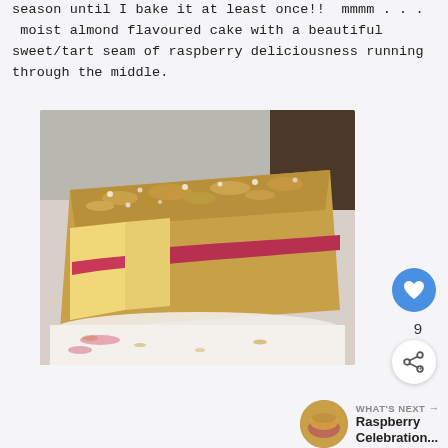season until I bake it at least once!!  mmmm . . .  moist almond flavoured cake with a beautiful sweet/tart seam of raspberry deliciousness running through the middle.
[Figure (photo): A slice of almond cake with a raspberry jam layer running through the middle, topped with a crumble/streusel and dusted with powdered sugar, served on a white surface.]
[Figure (infographic): Heart/like button (blue circle with white heart icon), like count of 9, and share button (white circle with share icon).]
WHAT'S NEXT → Raspberry Celebration...